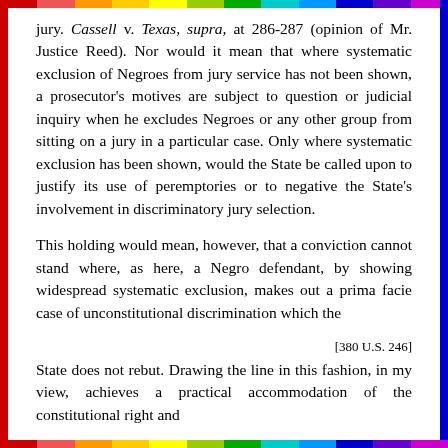jury. Cassell v. Texas, supra, at 286-287 (opinion of Mr. Justice Reed). Nor would it mean that where systematic exclusion of Negroes from jury service has not been shown, a prosecutor's motives are subject to question or judicial inquiry when he excludes Negroes or any other group from sitting on a jury in a particular case. Only where systematic exclusion has been shown, would the State be called upon to justify its use of peremptories or to negative the State's involvement in discriminatory jury selection.
This holding would mean, however, that a conviction cannot stand where, as here, a Negro defendant, by showing widespread systematic exclusion, makes out a prima facie case of unconstitutional discrimination which the
[380 U.S. 246]
State does not rebut. Drawing the line in this fashion, in my view, achieves a practical accommodation of the constitutional right and